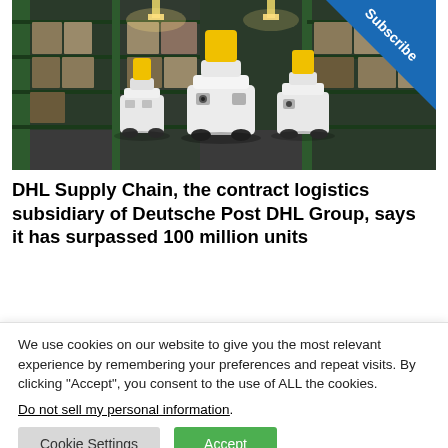[Figure (photo): Warehouse interior with autonomous mobile robots (white with yellow tops) navigating between tall green metal shelving racks stacked with boxes. Three robots visible in the foreground.]
DHL Supply Chain, the contract logistics subsidiary of Deutsche Post DHL Group, says it has surpassed 100 million units
We use cookies on our website to give you the most relevant experience by remembering your preferences and repeat visits. By clicking “Accept”, you consent to the use of ALL the cookies.
Do not sell my personal information.